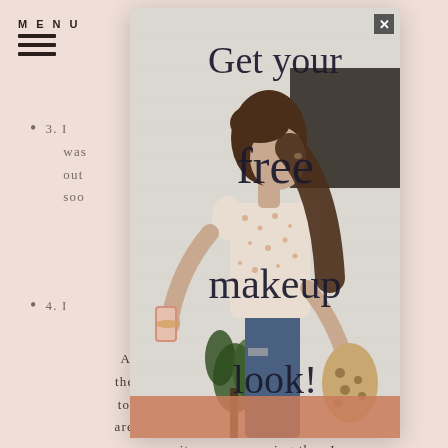MENU
any and everything, so she has my
3. I [obscured] veil I was [obscured] turned out [obscured] to come soon [obscured]
4. I [obscured]
And the go[obscured] wedding in the works an[obscured] s is engaged to her Jr. H[obscured] heart! They are getting m[obscured] I think I am more excit[obscured] ning than I was to plan[obscured] updated on the things are dresses of here!
[Figure (photo): Modal popup with script text 'Get your free makeup look!' overlaid on a photo of a woman taking a selfie with a phone, with a salmon/terracotta CTA bar at the bottom. Close button in upper right.]